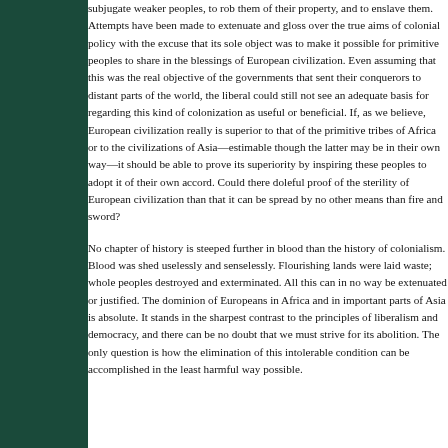subjugate weaker peoples, to rob them of their property, and to enslave them. Attempts have been made to extenuate and gloss over the true aims of colonial policy with the excuse that its sole object was to make it possible for primitive peoples to share in the blessings of European civilization. Even assuming that this was the real objective of the governments that sent their conquerors to distant parts of the world, the liberal could still not see an adequate basis for regarding this kind of colonization as useful or beneficial. If, as we believe, European civilization really is superior to that of the primitive tribes of Africa or to the civilizations of Asia—estimable though the latter may be in their own way—it should be able to prove its superiority by inspiring these peoples to adopt it of their own accord. Could there be a more doleful proof of the sterility of European civilization than that it can be spread by no other means than fire and sword?
No chapter of history is steeped further in blood than the history of colonialism. Blood was shed uselessly and senselessly. Flourishing lands were laid waste; whole peoples destroyed and exterminated. All this can in no way be extenuated or justified. The dominion of Europeans in Africa and in important parts of Asia is absolute. It stands in the sharpest contrast to the principles of liberalism and democracy, and there can be no doubt that we must strive for its abolition. The only question is how the elimination of this intolerable condition can be accomplished in the least harmful way possible.